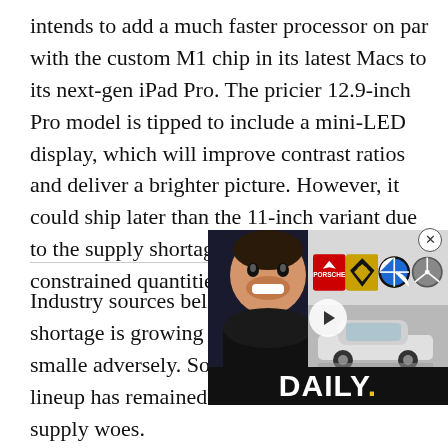intends to add a much faster processor on par with the custom M1 chip in its latest Macs to its next-gen iPad Pro. The pricier 12.9-inch Pro model is tipped to include a mini-LED display, which will improve contrast ratios and deliver a brighter picture. However, it could ship later than the 11-inch variant due to the supply shortage. It will be available in constrained quantities, to begin with.
[Figure (other): Video ad overlay showing a person smiling with car brand logos (Porsche, Lamborghini, BMW, Mercedes) and a car image, with 'DAILY.' text at the bottom and a play button in the center. An X close button appears at the top right.]
Industry sources believe tha[t] the chip shortage is growing [and] could, in turn, impact smalle[r devices] adversely. So far, the iPhone lineup has remained immune to the supply woes.